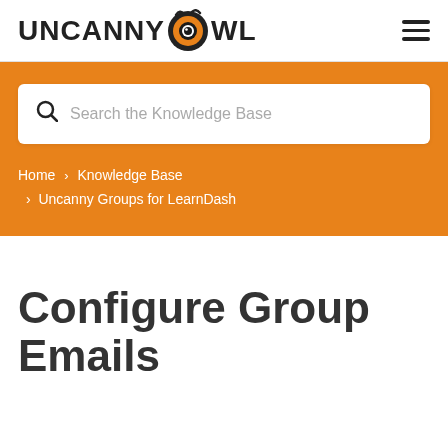[Figure (logo): Uncanny Owl logo with owl eye replacing the 'O', hamburger menu icon top right]
[Figure (screenshot): Search bar with placeholder text 'Search the Knowledge Base' on orange background]
Home › Knowledge Base › Uncanny Groups for LearnDash
Configure Group Emails